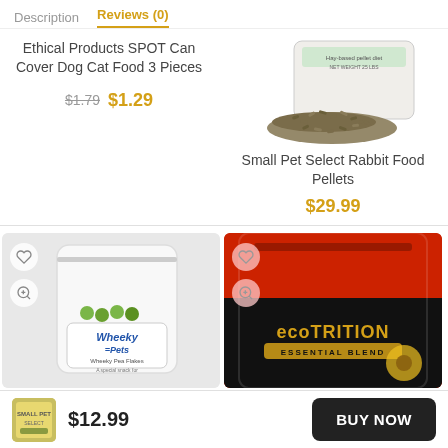Description   Reviews (0)
Ethical Products SPOT Can Cover Dog Cat Food 3 Pieces
$1.79  $1.29
[Figure (photo): White bag of Small Pet Select Rabbit Food Pellets with pellets spilling out]
Small Pet Select Rabbit Food Pellets
$29.99
[Figure (photo): Wheeky Pets white pouch with Wheeky Pea Flakes label, shown with heart and zoom icons]
[Figure (photo): Ecotrition Essential Blend red and black bag, shown with heart and zoom icons]
$12.99
BUY NOW